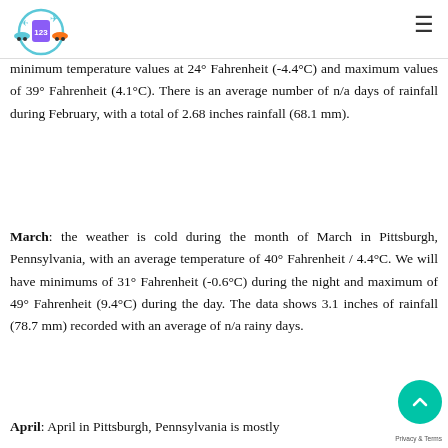[Figure (logo): Travel website logo with circular design featuring cars, plane, and price tag icon]
minimum temperature values at 24° Fahrenheit (-4.4°C) and maximum values of 39° Fahrenheit (4.1°C). There is an average number of n/a days of rainfall during February, with a total of 2.68 inches rainfall (68.1 mm).
March: the weather is cold during the month of March in Pittsburgh, Pennsylvania, with an average temperature of 40° Fahrenheit / 4.4°C. We will have minimums of 31° Fahrenheit (-0.6°C) during the night and maximum of 49° Fahrenheit (9.4°C) during the day. The data shows 3.1 inches of rainfall (78.7 mm) recorded with an average of n/a rainy days.
April: April in Pittsburgh, Pennsylvania is mostly